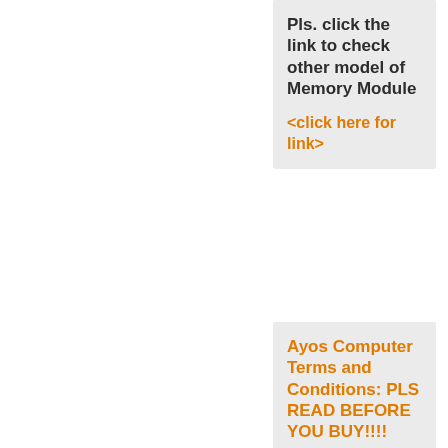Pls. click the link to check other model of Memory Module
<click here for link>
Ayos Computer Terms and Conditions: PLS READ BEFORE YOU BUY!!!!